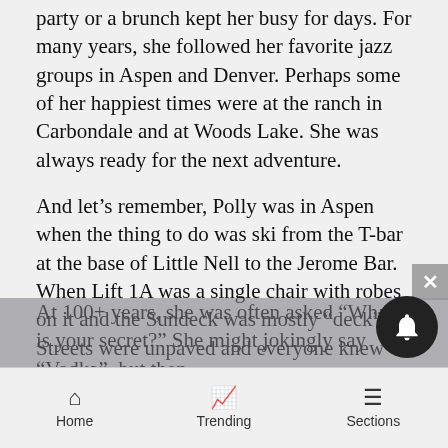party or a brunch kept her busy for days. For many years, she followed her favorite jazz groups in Aspen and Denver. Perhaps some of her happiest times were at the ranch in Carbondale and at Woods Lake. She was always ready for the next adventure.
And let's remember, Polly was in Aspen when the thing to do was ski from the T-bar at the base of Little Nell to the Jerome Bar. When Lift 1A was a single chair with robes on it and the Sundeck was mostly “deck”. Streets were unpaved and everyone knew one another. Her pals were the Pfister's, Brown's, Sabbatini's and Kelly's, to name a few. The Golden Horn and Red Onion were favorite hot spots. Plus so much more. She had stories, for sure!
At 100+ years, she was often asked “What is your secret?” She might jokingly say “Vodka”, but then
Home   Trending   Sections